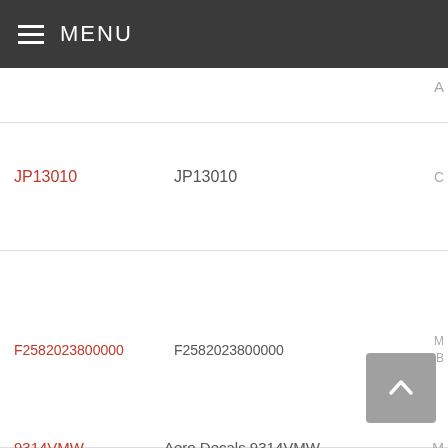MENU
A
JP13010	JP13010	C
F2582023800000	F2582023800000
9314VMW	Aero Decals 9314VMW	M